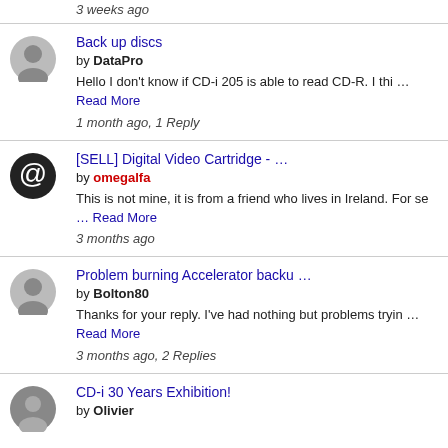3 weeks ago
Back up discs by DataPro Hello I don't know if CD-i 205 is able to read CD-R. I thi … Read More 1 month ago, 1 Reply
[SELL] Digital Video Cartridge - … by omegalfa This is not mine, it is from a friend who lives in Ireland. For se … Read More 3 months ago
Problem burning Accelerator backu … by Bolton80 Thanks for your reply. I've had nothing but problems tryin … Read More 3 months ago, 2 Replies
CD-i 30 Years Exhibition! by Olivier